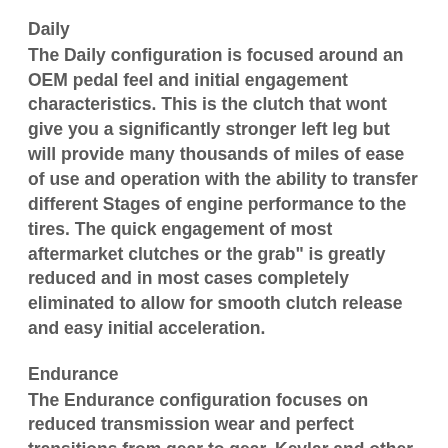Daily
The Daily configuration is focused around an OEM pedal feel and initial engagement characteristics. This is the clutch that wont give you a significantly stronger left leg but will provide many thousands of miles of ease of use and operation with the ability to transfer different Stages of engine performance to the tires. The quick engagement of most aftermarket clutches or the grab" is greatly reduced and in most cases completely eliminated to allow for smooth clutch release and easy initial acceleration.
Endurance
The Endurance configuration focuses on reduced transmission wear and perfect transitions from gear to gear. Kevlar and other more exotic materials are